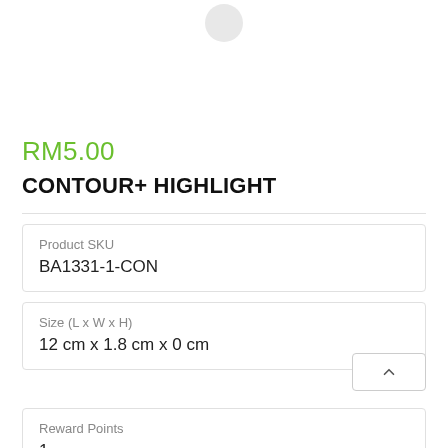[Figure (photo): Product image placeholder circle at top of page]
RM5.00
CONTOUR+ HIGHLIGHT
| Product SKU |  |
| --- | --- |
| BA1331-1-CON |  |
| Size (L x W x H) |  |
| --- | --- |
| 12 cm x 1.8 cm x 0 cm |  |
| Reward Points |  |
| --- | --- |
| 1 |  |
Points Needed